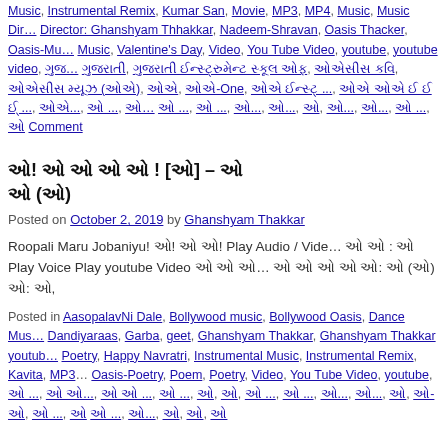Music, Instrumental Remix, Kumar San, Movie, MP3, MP4, Music, Music Director: Ghanshyam Thhakkar, Nadeem-Shravan, Oasis Thacker, Oasis-Music, Valentine's Day, Video, You Tube Video, youtube, youtube video, [Gujarati tags], Comment
[Gujarati title] – [Gujarati subtitle]
Posted on October 2, 2019 by Ghanshyam Thakkar
Roopali Maru Jobaniyu! [Gujarati]! [Gujarati] [Gujarati]! Play Audio / Video [Gujarati] : [Gujarati] Play Voice Play youtube Video [Gujarati] [Gujarati]: [Gujarati] ([Gujarati]) [Gujarati]: [Gujarati],
Posted in AasopalavNi Dale, Bollywood music, Bollywood Oasis, Dance Music, Dandiyaraas, Garba, geet, Ghanshyam Thakkar, Ghanshyam Thakkar youtube, Poetry, Happy Navratri, Instrumental Music, Instrumental Remix, Kavita, MP3, Oasis-Poetry, Poem, Poetry, Video, You Tube Video, youtube, [Gujarati tags]